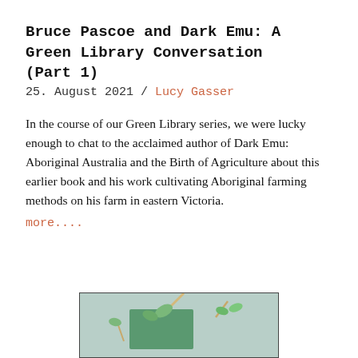Bruce Pascoe and Dark Emu: A Green Library Conversation (Part 1)
25. August 2021 / Lucy Gasser
In the course of our Green Library series, we were lucky enough to chat to the acclaimed author of Dark Emu: Aboriginal Australia and the Birth of Agriculture about this earlier book and his work cultivating Aboriginal farming methods on his farm in eastern Victoria. more....
[Figure (photo): Photo of plant seedlings with green card/label, light blue-grey background, partially visible at bottom of page]